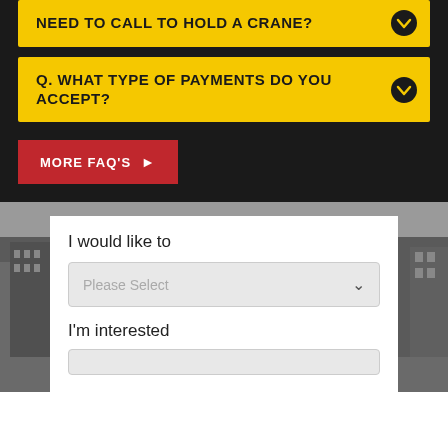NEED TO CALL TO HOLD A CRANE?
Q. WHAT TYPE OF PAYMENTS DO YOU ACCEPT?
MORE FAQ'S
I would like to
Please Select
I'm interested